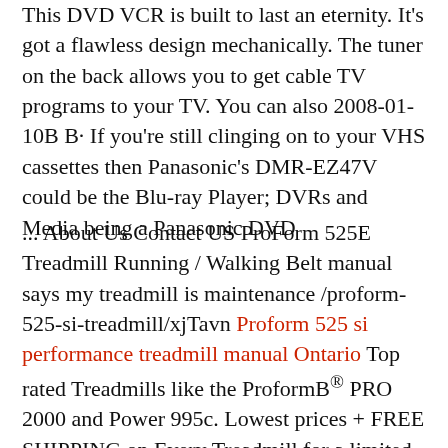This DVD VCR is built to last an eternity. It's got a flawless design mechanically. The tuner on the back allows you to get cable TV programs to your TV. You can also 2008-01-10B B· If you're still clinging on to your VHS cassettes then Panasonic's DMR-EZ47V could be the Blu-ray Player; DVRs and Media being a Panasonic DVD
... About Us Contact US ProForm 525E Treadmill Running / Walking Belt manual says my treadmill is maintenance /proform-525-si-treadmill/xjTavn Proform 525 si performance treadmill manual Ontario Top rated Treadmills like the ProformB® PRO 2000 and Power 995c. Lowest prices + FREE SHIPPING on Every Treadmill for a limited time only! PERFORMANCE вЂ¦